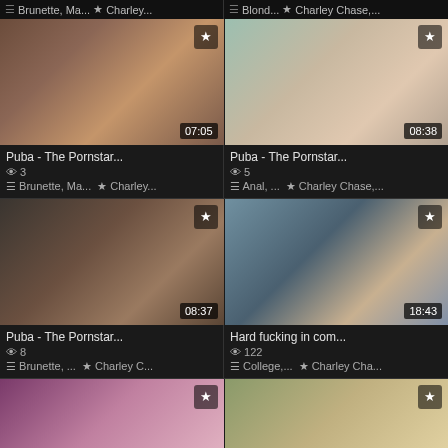≡ Brunette, Ma... ★ Charley...
≡ Blond... ★ Charley Chase,...
[Figure (photo): Video thumbnail 07:05]
[Figure (photo): Video thumbnail 08:38]
Puba - The Pornstar... 👁 3 ≡ Brunette, Ma... ★ Charley...
Puba - The Pornstar... 👁 5 ≡ Anal, ... ★ Charley Chase,...
[Figure (photo): Video thumbnail 08:37]
[Figure (photo): Video thumbnail 18:43]
Puba - The Pornstar... 👁 8 ≡ Brunette, ... ★ Charley C...
Hard fucking in com... 👁 122 ≡ College,... ★ Charley Cha...
[Figure (photo): Video thumbnail partial bottom left]
[Figure (photo): Video thumbnail partial bottom right]